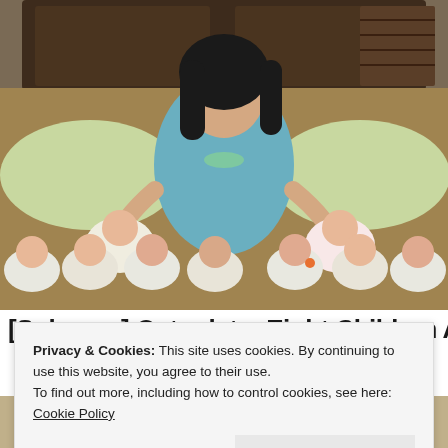[Figure (photo): A woman with dark hair wearing a teal top sitting on a bed, holding two swaddled newborn babies, with six more swaddled newborns arranged in a row in front of her on the bed.]
[Suleman] Octuplets: Eight Children Are All G...
Privacy & Cookies: This site uses cookies. By continuing to use this website, you agree to their use.
To find out more, including how to control cookies, see here: Cookie Policy
Close and accept
[Figure (photo): Partial photo at the bottom of the page showing the top of a person's head with blonde or light-colored hair.]